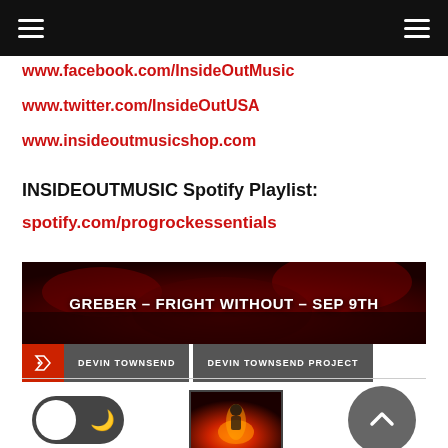Navigation bar with hamburger menus
www.facebook.com/InsideOutMusic
www.twitter.com/InsideOutUSA
www.insideoutmusicshop.com
INSIDEOUTMUSIC Spotify Playlist:
spotify.com/progrockessentials
[Figure (photo): Banner image with fire/red background showing text: GREBER - FRIGHT WITHOUT - SEP 9TH with tags DEVIN TOWNSEND and DEVIN TOWNSEND PROJECT]
[Figure (illustration): Dark mode toggle switch, fire photo thumbnail, and scroll-to-top button]